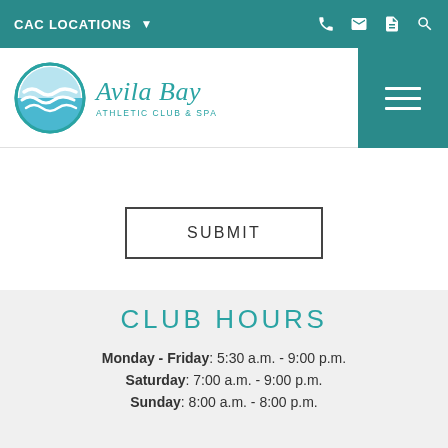CAC LOCATIONS
[Figure (logo): Avila Bay Athletic Club & Spa logo with circular wave emblem]
SUBMIT
CLUB HOURS
Monday - Friday: 5:30 a.m. - 9:00 p.m.
Saturday: 7:00 a.m. - 9:00 p.m.
Sunday: 8:00 a.m. - 8:00 p.m.